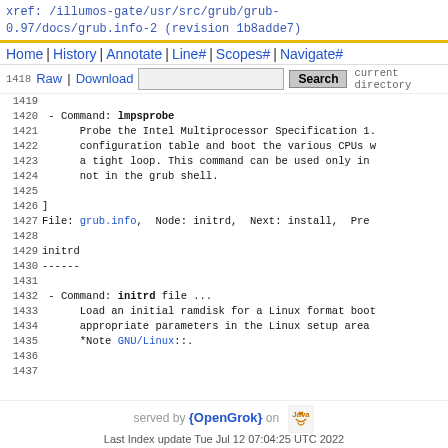xref: /illumos-gate/usr/src/grub/grub-0.97/docs/grub.info-2 (revision 1b8adde7)
Home | History | Annotate | Line# | Scopes# | Navigate#
1418 Raw | Download [Search]
1419
1420 - Command: lmpsprobe
1421     Probe the Intel Multiprocessor Specification 1.
1422     configuration table and boot the various CPUs w
1423     a tight loop. This command can be used only in
1424     not in the grub shell.
1425
1426 ]
1427 File: grub.info,  Node: initrd,  Next: install,  Pre
1428
1429 initrd
1430 ------
1431
1432  - Command: initrd file ...
1433     Load an initial ramdisk for a Linux format boot
1434     appropriate parameters in the Linux setup area
1435     *Note GNU/Linux::.
1436
1437
served by {OpenGrok} on Java
Last Index update Tue Jul 12 07:04:25 UTC 2022